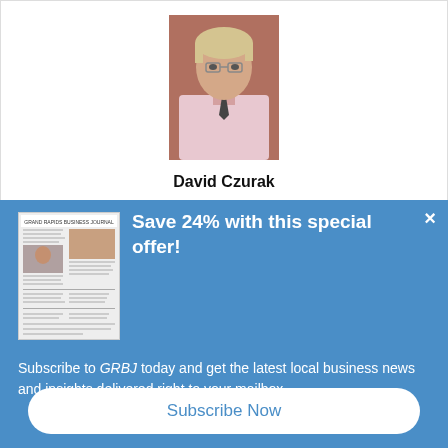[Figure (photo): Headshot of David Czurak, an older man with blonde/white hair, wearing a light pink shirt, photographed in front of a brick wall]
David Czurak
[Figure (photo): Thumbnail image of a newspaper (GRBJ)]
Save 24% with this special offer!
Subscribe to GRBJ today and get the latest local business news and insights delivered right to your mailbox.
Subscribe Now